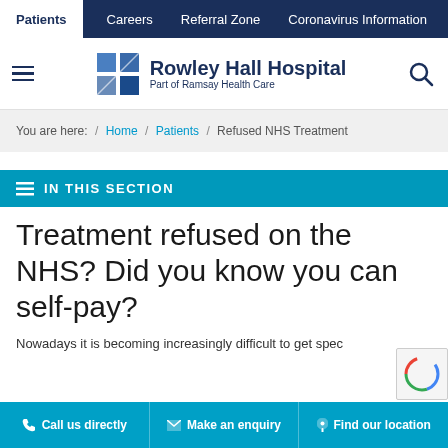Patients | Careers | Referral Zone | Coronavirus Information
[Figure (logo): Rowley Hall Hospital logo - Part of Ramsay Health Care, with blue grid icon]
You are here: / Home / Patients / Refused NHS Treatment
IN THIS SECTION
Treatment refused on the NHS? Did you know you can self-pay?
Nowadays it is becoming increasingly difficult to get spec
Call us directly | Make an enquiry | Find our location